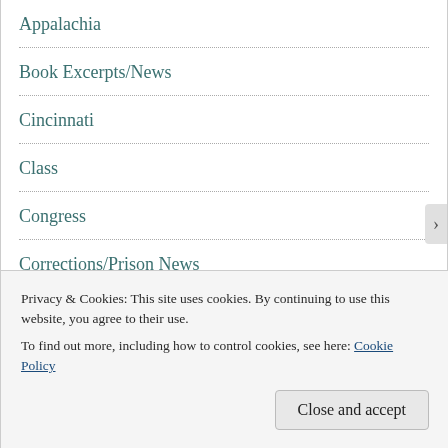Appalachia
Book Excerpts/News
Cincinnati
Class
Congress
Corrections/Prison News
Cultural
Drug News
Privacy & Cookies: This site uses cookies. By continuing to use this website, you agree to their use.
To find out more, including how to control cookies, see here: Cookie Policy
Close and accept